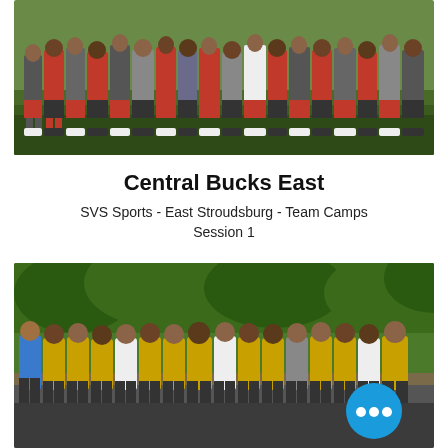[Figure (photo): Group photo of football players/athletes in red and grey shirts standing on grass, partially cropped at top]
Central Bucks East
SVS Sports - East Stroudsburg - Team Camps Session 1
[Figure (photo): Group photo of approximately 25-30 football players mostly wearing gold/yellow jerseys, standing outdoors with trees in the background; a blue chat bubble with three dots overlaid in the bottom right corner]